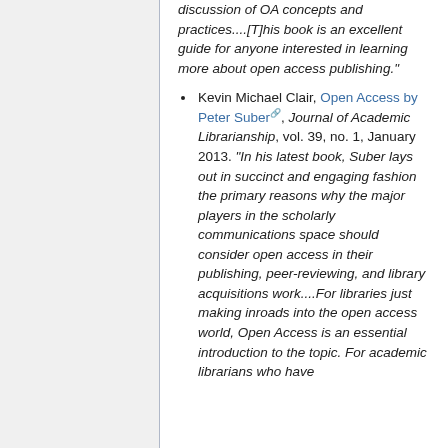discussion of OA concepts and practices....[T]his book is an excellent guide for anyone interested in learning more about open access publishing."
Kevin Michael Clair, Open Access by Peter Suber, Journal of Academic Librarianship, vol. 39, no. 1, January 2013. "In his latest book, Suber lays out in succinct and engaging fashion the primary reasons why the major players in the scholarly communications space should consider open access in their publishing, peer-reviewing, and library acquisitions work....For libraries just making inroads into the open access world, Open Access is an essential introduction to the topic. For academic librarians who have